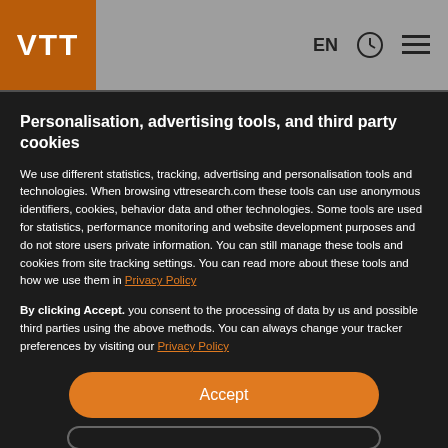VTT  EN
Personalisation, advertising tools, and third party cookies
We use different statistics, tracking, advertising and personalisation tools and technologies. When browsing vttresearch.com these tools can use anonymous identifiers, cookies, behavior data and other technologies. Some tools are used for statistics, performance monitoring and website development purposes and do not store users private information. You can still manage these tools and cookies from site tracking settings. You can read more about these tools and how we use them in Privacy Policy
By clicking Accept. you consent to the processing of data by us and possible third parties using the above methods. You can always change your tracker preferences by visiting our Privacy Policy
Accept
sizing surveys for more reliable size charts, body shapes